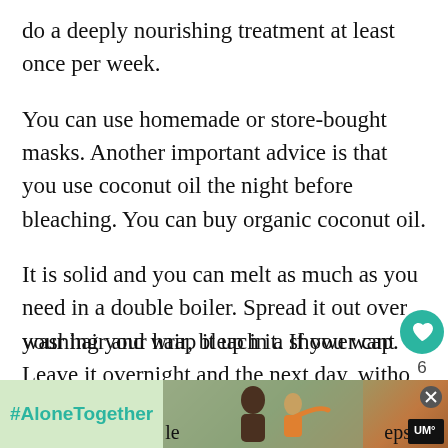do a deeply nourishing treatment at least once per week.
You can use homemade or store-bought masks. Another important advice is that you use coconut oil the night before bleaching. You can buy organic coconut oil.
It is solid and you can melt as much as you need in a double boiler. Spread it out over your hair and wrap it up in a shower cap. Leave it overnight and the next day, without washing your hair, bleach it. If you want to
[Figure (screenshot): Bottom advertisement bar showing #AloneTogether hashtag in teal on light green background, with a photo of a man and child, a close button (X), and a brand logo (UM) on dark background.]